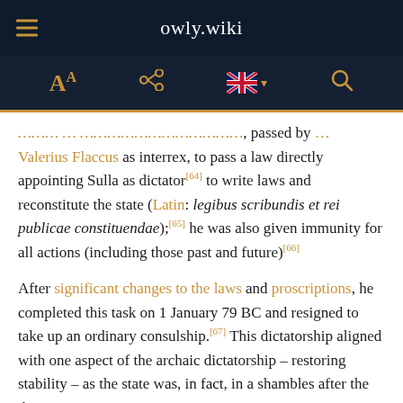owly.wiki
Valerius Flaccus as interrex, to pass a law directly appointing Sulla as dictator[64] to write laws and reconstitute the state (Latin: legibus scribundis et rei publicae constituendae);[65] he was also given immunity for all actions (including those past and future)[66]
After significant changes to the laws and proscriptions, he completed this task on 1 January 79 BC and resigned to take up an ordinary consulship.[67] This dictatorship aligned with one aspect of the archaic dictatorship – restoring stability – as the state was, in fact, in a shambles after the domination